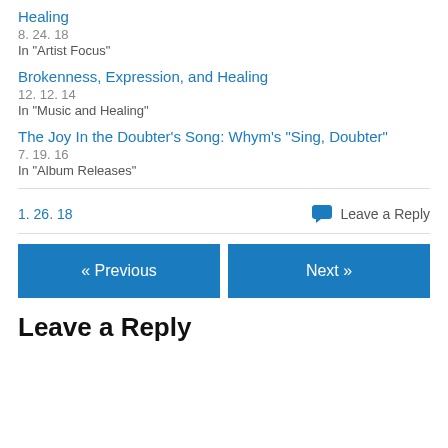Healing
8. 24. 18
In "Artist Focus"
Brokenness, Expression, and Healing
12. 12. 14
In "Music and Healing"
The Joy In the Doubter’s Song: Whym’s “Sing, Doubter”
7. 19. 16
In "Album Releases"
1. 26. 18
Leave a Reply
« Previous
Next »
Leave a Reply